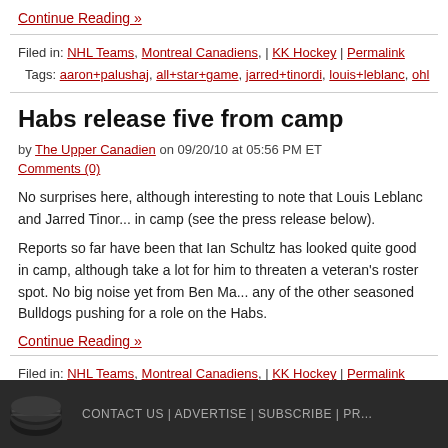Continue Reading »
Filed in: NHL Teams, Montreal Canadiens, | KK Hockey | Permalink
Tags: aaron+palushaj, all+star+game, jarred+tinordi, louis+leblanc, ohl
Habs release five from camp
by The Upper Canadien on 09/20/10 at 05:56 PM ET
Comments (0)
No surprises here, although interesting to note that Louis Leblanc and Jarred Tinordi are still in camp (see the press release below).
Reports so far have been that Ian Schultz has looked quite good in camp, although it would take a lot for him to threaten a veteran's roster spot. No big noise yet from Ben Ma... any of the other seasoned Bulldogs pushing for a role on the Habs.
Continue Reading »
Filed in: NHL Teams, Montreal Canadiens, | KK Hockey | Permalink
Tags: ben+maxwell, ian+schultz, jarred+tinordi, louis+leblanc, training+camp
CONTACT US | ADVERTISE | SUBSCRIBE | PR...